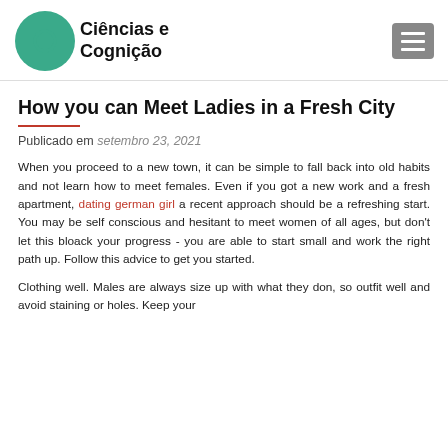Ciências e Cognição
How you can Meet Ladies in a Fresh City
Publicado em setembro 23, 2021
When you proceed to a new town, it can be simple to fall back into old habits and not learn how to meet females. Even if you got a new work and a fresh apartment, dating german girl a recent approach should be a refreshing start. You may be self conscious and hesitant to meet women of all ages, but don't let this bloack your progress - you are able to start small and work the right path up. Follow this advice to get you started.
Clothing well. Males are always size up with what they don, so outfit well and avoid staining or holes. Keep your